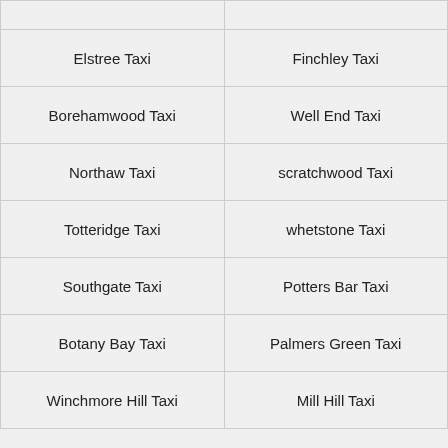|  |  |
| Elstree Taxi | Finchley Taxi |
| Borehamwood Taxi | Well End Taxi |
| Northaw Taxi | scratchwood Taxi |
| Totteridge Taxi | whetstone Taxi |
| Southgate Taxi | Potters Bar Taxi |
| Botany Bay Taxi | Palmers Green Taxi |
| Winchmore Hill Taxi | Mill Hill Taxi |